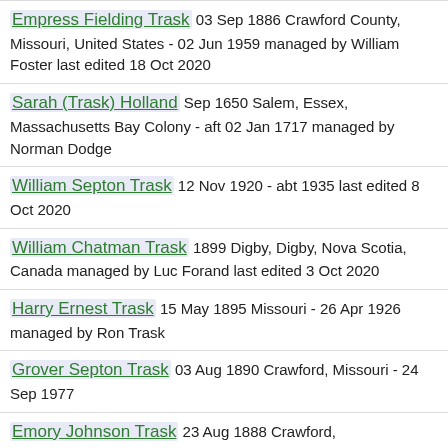Empress Fielding Trask 03 Sep 1886 Crawford County, Missouri, United States - 02 Jun 1959 managed by William Foster last edited 18 Oct 2020
Sarah (Trask) Holland Sep 1650 Salem, Essex, Massachusetts Bay Colony - aft 02 Jan 1717 managed by Norman Dodge
William Septon Trask 12 Nov 1920 - abt 1935 last edited 8 Oct 2020
William Chatman Trask 1899 Digby, Digby, Nova Scotia, Canada managed by Luc Forand last edited 3 Oct 2020
Harry Ernest Trask 15 May 1895 Missouri - 26 Apr 1926 managed by Ron Trask
Grover Septon Trask 03 Aug 1890 Crawford, Missouri - 24 Sep 1977
Emory Johnson Trask 23 Aug 1888 Crawford,